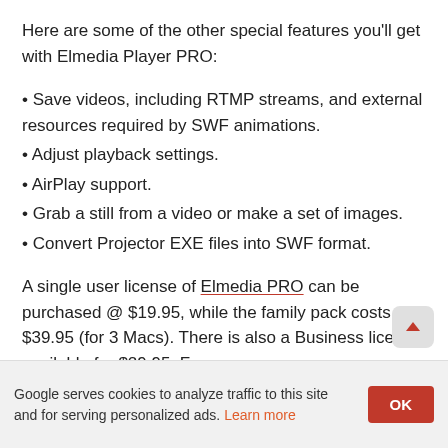Here are some of the other special features you'll get with Elmedia Player PRO:
• Save videos, including RTMP streams, and external resources required by SWF animations.
• Adjust playback settings.
• AirPlay support.
• Grab a still from a video or make a set of images.
• Convert Projector EXE files into SWF format.
A single user license of Elmedia PRO can be purchased @ $19.95, while the family pack costs $39.95 (for 3 Macs). There is also a Business license available for $29.95. For
Google serves cookies to analyze traffic to this site and for serving personalized ads. Learn more